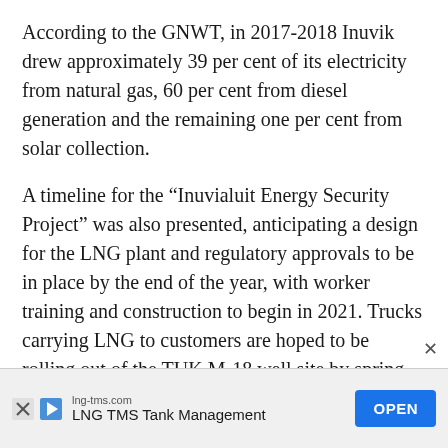According to the GNWT, in 2017-2018 Inuvik drew approximately 39 per cent of its electricity from natural gas, 60 per cent from diesel generation and the remaining one per cent from solar collection.
A timeline for the “Inuvialuit Energy Security Project” was also presented, anticipating a design for the LNG plant and regulatory approvals to be in place by the end of the year, with worker training and construction to begin in 2021. Trucks carrying LNG to customers are hoped to be rolling out of the TUK M-18 well site by spring of 2022. Construction will be worked around migratory bird seasons to minimize impact on wildlife
[Figure (other): Advertisement banner for LNG TMS Tank Management (lng-tms.com) with an OPEN button]